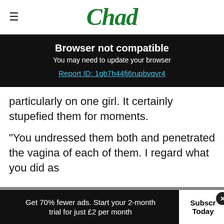Chad
Browser not compatible
You may need to update your browser
Report ID: 1gb7h44fj6rupbvqvr4
particularly on one girl. It certainly stupefied them for moments.
"You undressed them both and penetrated the vagina of each of them. I regard what you did as having elements of real wickedness to it."
Get 70% fewer ads. Start your 2-month trial for just £2 per month   Subscr Today